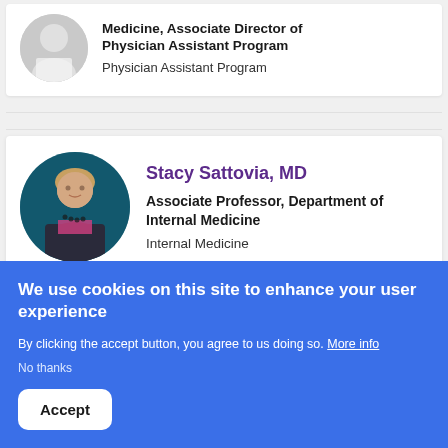[Figure (photo): Partial profile photo of a woman, circular crop, top of card truncated]
Medicine, Associate Director of Physician Assistant Program
Physician Assistant Program
[Figure (photo): Circular profile photo of Stacy Sattovia, MD, a woman with blonde hair wearing a dark blazer and pink top, against a teal/dark background]
Stacy Sattovia, MD
Associate Professor, Department of Internal Medicine
Internal Medicine
We use cookies on this site to enhance your user experience
By clicking the accept button, you agree to us doing so. More info
No thanks
Accept